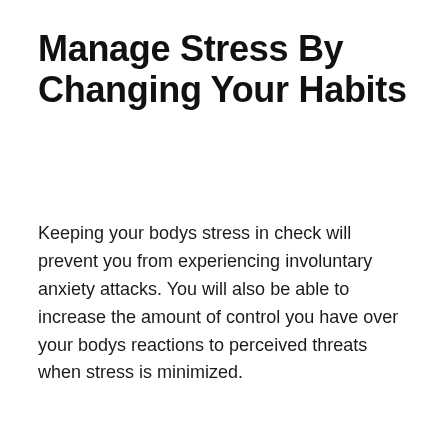Manage Stress By Changing Your Habits
Keeping your bodys stress in check will prevent you from experiencing involuntary anxiety attacks. You will also be able to increase the amount of control you have over your bodys reactions to perceived threats when stress is minimized.